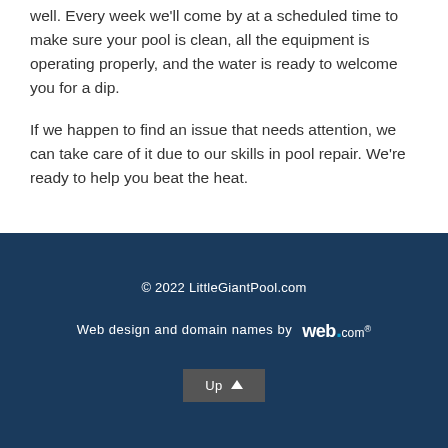well. Every week we'll come by at a scheduled time to make sure your pool is clean, all the equipment is operating properly, and the water is ready to welcome you for a dip.
If we happen to find an issue that needs attention, we can take care of it due to our skills in pool repair. We're ready to help you beat the heat.
© 2022 LittleGiantPool.com
Web design and domain names by web.com®
Up ↑